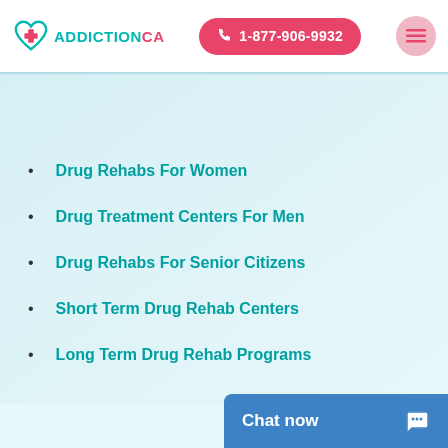ADDICTIONCA  ☎ 1-877-906-9932
Drug Rehabs For Women
Drug Treatment Centers For Men
Drug Rehabs For Senior Citizens
Short Term Drug Rehab Centers
Long Term Drug Rehab Programs
Chat now